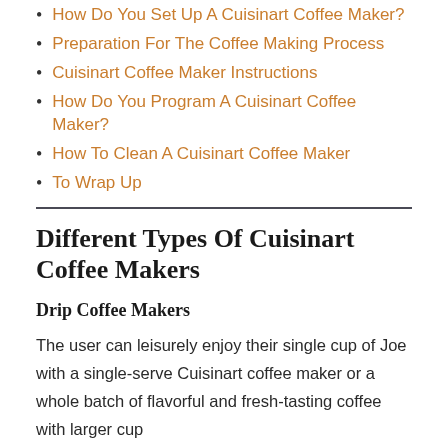How Do You Set Up A Cuisinart Coffee Maker?
Preparation For The Coffee Making Process
Cuisinart Coffee Maker Instructions
How Do You Program A Cuisinart Coffee Maker?
How To Clean A Cuisinart Coffee Maker
To Wrap Up
Different Types Of Cuisinart Coffee Makers
Drip Coffee Makers
The user can leisurely enjoy their single cup of Joe with a single-serve Cuisinart coffee maker or a whole batch of flavorful and fresh-tasting coffee with larger cup